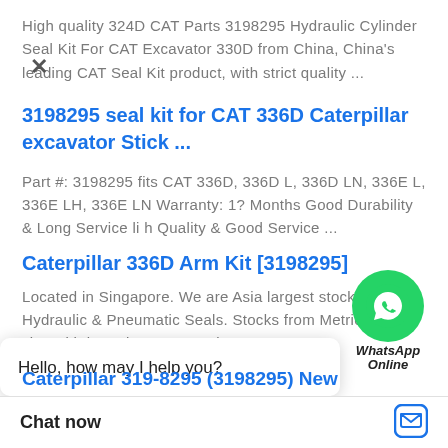High quality 324D CAT Parts 3198295 Hydraulic Cylinder Seal Kit For CAT Excavator 330D from China, China's leading CAT Seal Kit product, with strict quality ...
3198295 seal kit for CAT 336D Caterpillar excavator Stick ...
Part #: 3198295 fits CAT 336D, 336D L, 336D LN, 336E L, 336E LH, 336E LN Warranty: 1? Months Good Durability & Long Service li? h Quality & Good Service ...
[Figure (illustration): WhatsApp Online button with green phone icon circle and text 'WhatsApp Online']
Caterpillar 336D Arm Kit [3198295]
Located in Singapore. We are Asia largest stockist for Hydraulic & Pneumatic Seals. Stocks from Metric & Inch size with large inventory and
Hello, how may I help you?
Caterpillar 319-8295 (3198295) New
Chat now